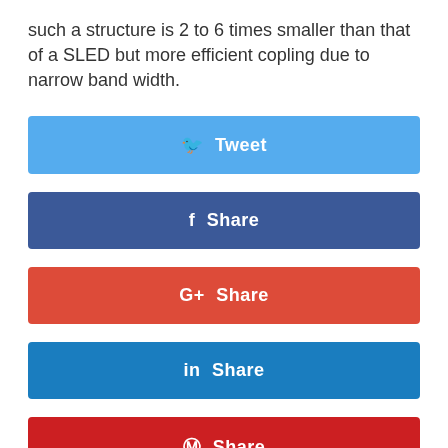such a structure is 2 to 6 times smaller than that of a SLED but more efficient copling due to narrow band width.
[Figure (other): Twitter Tweet share button (light blue)]
[Figure (other): Facebook Share button (dark blue)]
[Figure (other): Google+ Share button (red-orange)]
[Figure (other): LinkedIn Share button (blue)]
[Figure (other): Pinterest Share button (red)]